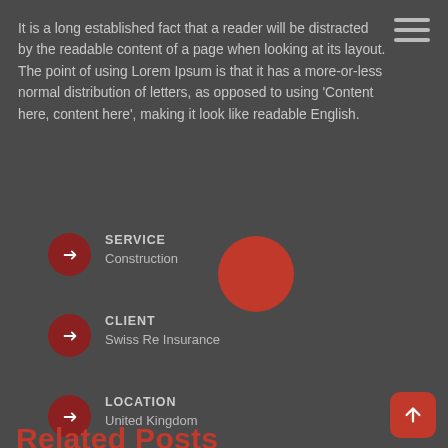It is a long established fact that a reader will be distracted by the readable content of a page when looking at its layout. The point of using Lorem Ipsum is that it has a more-or-less normal distribution of letters, as opposed to using 'Content here, content here', making it look like readable English.
SERVICE
Construction
CLIENT
Swiss Re Insurance
LOCATION
United Kingdom
[Figure (other): Large decorative red circle overlapping the SERVICE row]
[Figure (other): Back-to-top button: rounded red square with upward arrow icon, bottom-right corner]
Related Posts